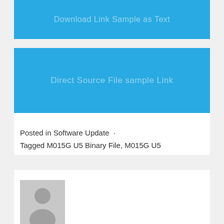[Figure (screenshot): Blue banner with faint watermark text 'Download Link Sample as Text']
[Figure (screenshot): Blue banner with faint watermark text 'Direct Source File sample Link']
Posted in Software Update  ·
Tagged M015G U5 Binary File, M015G U5 Combination, M015G U5 Firmware, M015G U5 Flash File, M015G U5 StockRom
[Figure (photo): Generic user avatar / silhouette placeholder image in grey]